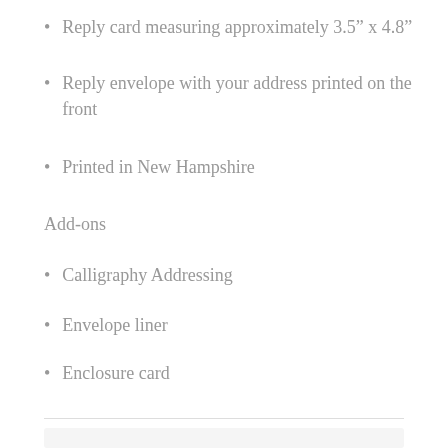Reply card measuring approximately 3.5" x 4.8"
Reply envelope with your address printed on the front
Printed in New Hampshire
Add-ons
Calligraphy Addressing
Envelope liner
Enclosure card
Details card